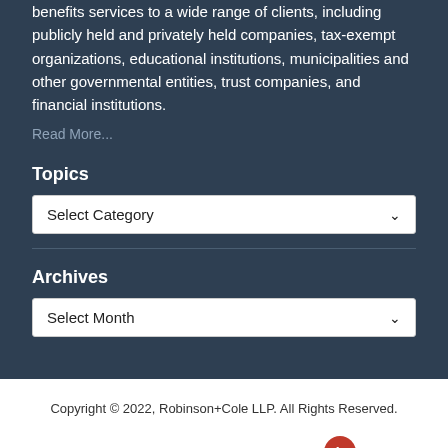benefits services to a wide range of clients, including publicly held and privately held companies, tax-exempt organizations, educational institutions, municipalities and other governmental entities, trust companies, and financial institutions.
Read More...
Topics
Select Category
Archives
Select Month
Copyright © 2022, Robinson+Cole LLP. All Rights Reserved.
Law blog design & platform by LexBlog